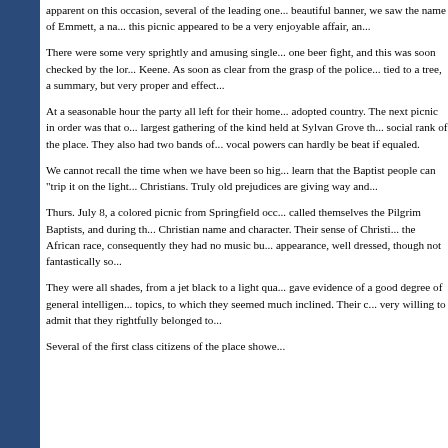apparent on this occasion, several of the leading one... beautiful banner, we saw the name of Emmett, a na... this picnic appeared to be a very enjoyable affair, an...
There were some very sprightly and amusing single... one beer fight, and this was soon checked by the lor... Keene. As soon as clear from the grasp of the police... tied to a tree, a summary, but very proper and effect...
At a seasonable hour the party all left for their home... adopted country. The next picnic in order was that o... largest gathering of the kind held at Sylvan Grove th... social rank of the place. They also had two bands of... vocal powers can hardly be beat if equaled.
We cannot recall the time when we have been so hig... learn that the Baptist people can "trip it on the light... Christians. Truly old prejudices are giving way and...
Thurs. July 8, a colored picnic from Springfield occ... called themselves the Pilgrim Baptists, and during th... Christian name and character. Their sense of Christi... the African race, consequently they had no music bu... appearance, well dressed, though not fantastically so...
They were all shades, from a jet black to a light qua... gave evidence of a good degree of general intelligen... topics, to which they seemed much inclined. Their c... very willing to admit that they rightfully belonged to...
Several of the first class citizens of the place showe... bla... to... and to... they... they... and by...